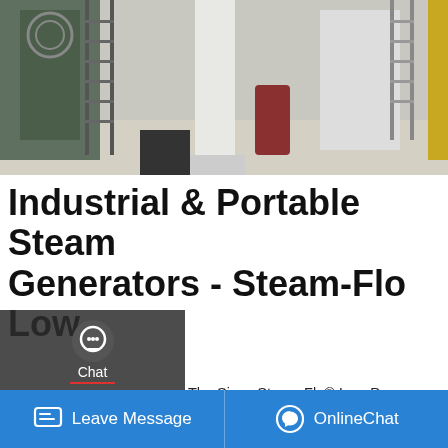[Figure (photo): Industrial facility interior showing heavy steam generator machinery, ladders, white support pillars, and a polished floor. Yellow equipment visible at right.]
Industrial & Portable Steam Generators - Steam-Flo Low
The Sioux Steam-Flo® Low-Pressure industrial steam generator is a perfect source of low-pressure steam for a variety of commercial and industrial applications. This unit can be used in place of a conventional boiler for low-pressure applications. These industrial steam generators produce 370-3,450 lbs. (168-1,564 kg) per hour of saturated
[Figure (screenshot): WhatsApp sticker saver app promotional banner with pink/purple gradient background and app icons.]
Leave Message
OnlineChat